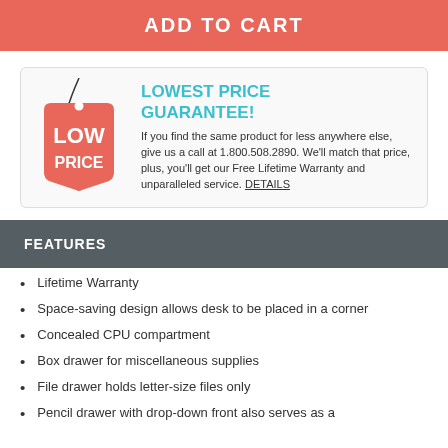ADD TO CART
[Figure (illustration): Red price tag with string showing LOW PRICE text]
LOWEST PRICE GUARANTEE!
If you find the same product for less anywhere else, give us a call at 1.800.508.2890. We'll match that price, plus, you'll get our Free Lifetime Warranty and unparalleled service. DETAILS
FEATURES
Lifetime Warranty
Space-saving design allows desk to be placed in a corner
Concealed CPU compartment
Box drawer for miscellaneous supplies
File drawer holds letter-size files only
Pencil drawer with drop-down front also serves as a